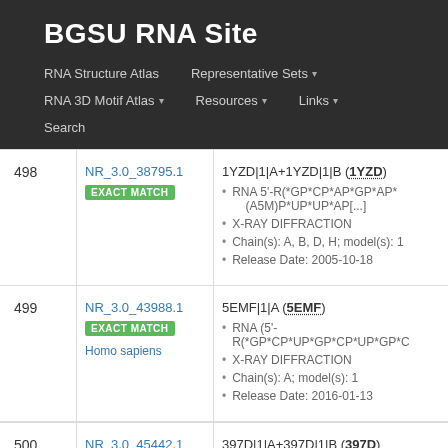BGSU RNA Site
RNA Structure Atlas  |  Representative Sets  |  RNA 3D Motif Atlas  |  Resources  |  Links  |  Search
| # | ID | Description |
| --- | --- | --- |
| 498 | NR_3.0_38795.1 EXACT MATCH | 1YZD|1|A+1YZD|1|B (1YZD)
RNA 5'-R(*GP*CP*AP*GP*AP*(A5M)P*UP*UP*AP[...]
X-RAY DIFFRACTION
Chain(s): A, B, D, H; model(s): 1
Release Date: 2005-10-18 |
| 499 | NR_3.0_43988.1 EXACT MATCH Homo sapiens | 5EMF|1|A (5EMF)
RNA (5'-R(*GP*CP*UP*GP*CP*UP*GP*C
X-RAY DIFFRACTION
Chain(s): A; model(s): 1
Release Date: 2016-01-13 |
| 500 | NR_3.0_45442.1 | 397D|1|A+397D|1|B (397D) |